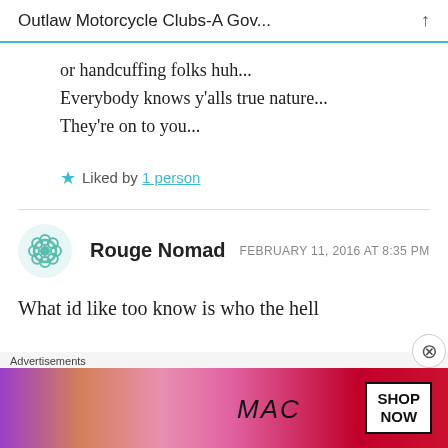Outlaw Motorcycle Clubs-A Gov...
or handcuffing folks huh...
Everybody knows y'alls true nature...
They're on to you...
★ Liked by 1 person
Rouge Nomad  FEBRUARY 11, 2016 AT 8:35 PM
What id like too know is who the hell
[Figure (screenshot): MAC cosmetics advertisement banner with lipsticks and SHOP NOW button]
Advertisements